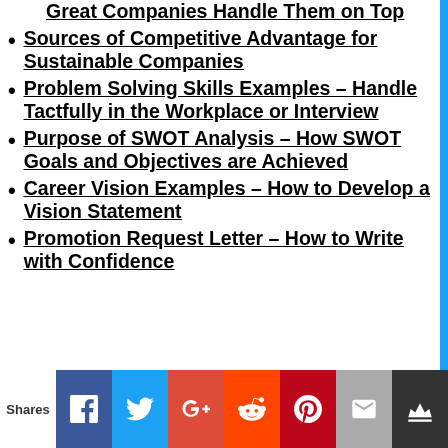Great Companies Handle Them on Top
Sources of Competitive Advantage for Sustainable Companies
Problem Solving Skills Examples – Handle Tactfully in the Workplace or Interview
Purpose of SWOT Analysis – How SWOT Goals and Objectives are Achieved
Career Vision Examples – How to Develop a Vision Statement
Promotion Request Letter – How to Write with Confidence